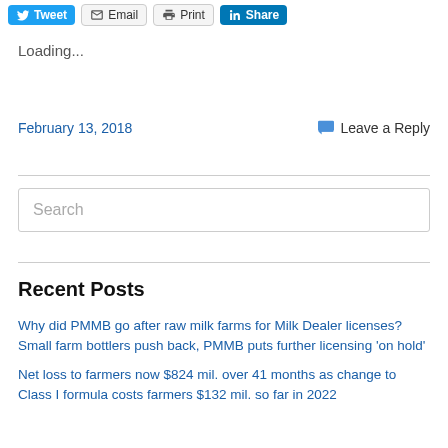Tweet | Email | Print | Share
Loading...
February 13, 2018    Leave a Reply
Search
Recent Posts
Why did PMMB go after raw milk farms for Milk Dealer licenses? Small farm bottlers push back, PMMB puts further licensing 'on hold'
Net loss to farmers now $824 mil. over 41 months as change to Class I formula costs farmers $132 mil. so far in 2022